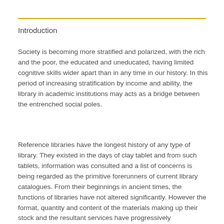Introduction
Society is becoming more stratified and polarized, with the rich and the poor, the educated and uneducated, having limited cognitive skills wider apart than in any time in our history. In this period of increasing stratification by income and ability, the library in academic institutions may acts as a bridge between the entrenched social poles.
Reference libraries have the longest history of any type of library. They existed in the days of clay tablet and from such tablets, information was consulted and a list of concerns is being regarded as the primitive forerunners of current library catalogues. From their beginnings in ancient times, the functions of libraries have not altered significantly. However the format, quantity and content of the materials making up their stock and the resultant services have progressively